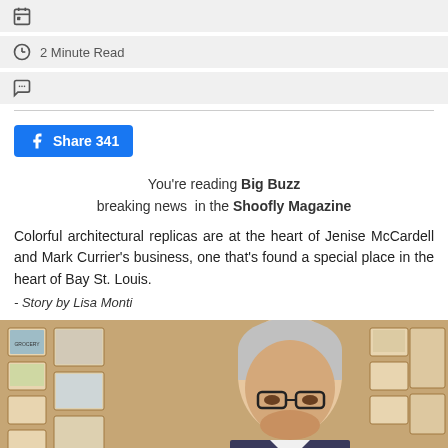2 Minute Read
Share 341
You're reading Big Buzz breaking news in the Shoofly Magazine
Colorful architectural replicas are at the heart of Jenise McCardell and Mark Currier's business, one that's found a special place in the heart of Bay St. Louis.
- Story by Lisa Monti
[Figure (photo): Man with gray hair and glasses standing in front of a wall display of colorful architectural replica plaques and art pieces on wooden shelving.]